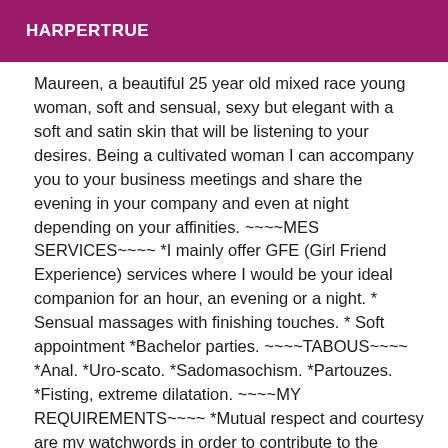HARPERTRUE
Maureen, a beautiful 25 year old mixed race young woman, soft and sensual, sexy but elegant with a soft and satin skin that will be listening to your desires. Being a cultivated woman I can accompany you to your business meetings and share the evening in your company and even at night depending on your affinities. ~~~~MES SERVICES~~~~ *I mainly offer GFE (Girl Friend Experience) services where I would be your ideal companion for an hour, an evening or a night. * Sensual massages with finishing touches. * Soft appointment *Bachelor parties. ~~~~TABOUS~~~~ *Anal. *Uro-scato. *Sadomasochism. *Partouzes. *Fisting, extreme dilatation. ~~~~MY REQUIREMENTS~~~~ *Mutual respect and courtesy are my watchwords in order to contribute to the smooth running of the meeting. I do not tolerate vulgarity and brutality. *I do not tolerate vulgarity and brutality. *To be at least 20 years old and only